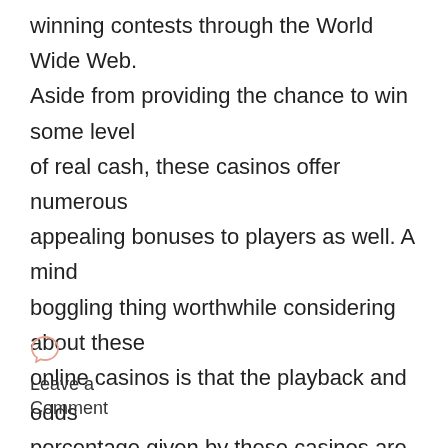winning contests through the World Wide Web. Aside from providing the chance to win some level of real cash, these casinos offer numerous appealing bonuses to players as well. A mind boggling thing worthwhile considering about these online casinos is that the playback and odds percentage given by these casinos are comparable to the land based ones. With the development of technology, three different types of online casinos are available nowadays for the casino lovers to try their luck at. These three forms of virtual casinos differ from one another on account of these
Leave a Comment